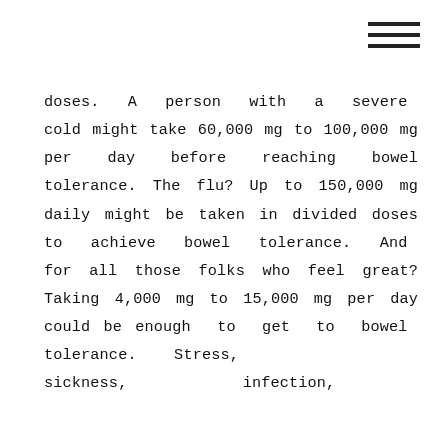[Figure (other): Hamburger menu icon (three horizontal lines) in top-right corner]
doses. A person with a severe cold might take 60,000 mg to 100,000 mg per day before reaching bowel tolerance. The flu? Up to 150,000 mg daily might be taken in divided doses to achieve bowel tolerance. And for all those folks who feel great? Taking 4,000 mg to 15,000 mg per day could be enough to get to bowel tolerance. Stress, sickness, infection,